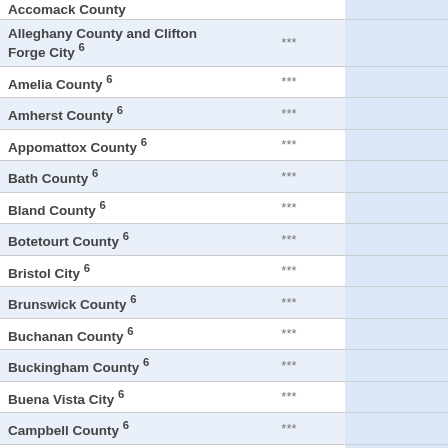|  |  |  |
| --- | --- | --- |
| Accomack County |  |  |
| Alleghany County and Clifton Forge City 6 | *** |  |
| Amelia County 6 | *** |  |
| Amherst County 6 | *** |  |
| Appomattox County 6 | *** |  |
| Bath County 6 | *** |  |
| Bland County 6 | *** |  |
| Botetourt County 6 | *** |  |
| Bristol City 6 | *** |  |
| Brunswick County 6 | *** |  |
| Buchanan County 6 | *** |  |
| Buckingham County 6 | *** |  |
| Buena Vista City 6 | *** |  |
| Campbell County 6 | *** |  |
| Caroline County 6 | *** |  |
| Carroll County 6 | *** |  |
| Charles City County 6 | *** |  |